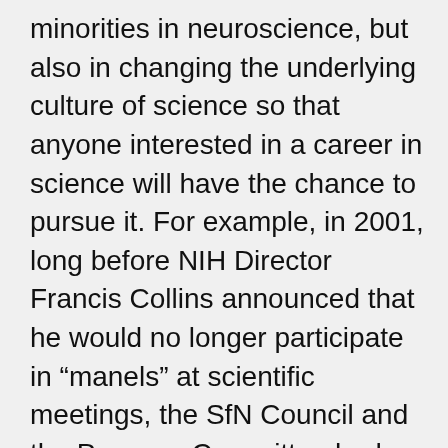minorities in neuroscience, but also in changing the underlying culture of science so that anyone interested in a career in science will have the chance to pursue it. For example, in 2001, long before NIH Director Francis Collins announced that he would no longer participate in “manels” at scientific meetings, the SfN Council and the Program Committee had approved diversity guidelines that reminded panel and symposium organizers to make every effort to include “appropriate representation of” qualified women and minorities in their events, as well as “broad geographical representation.”⁴²⁶ This type of inclusion policy was a key component in helping women and minorities to advance their own